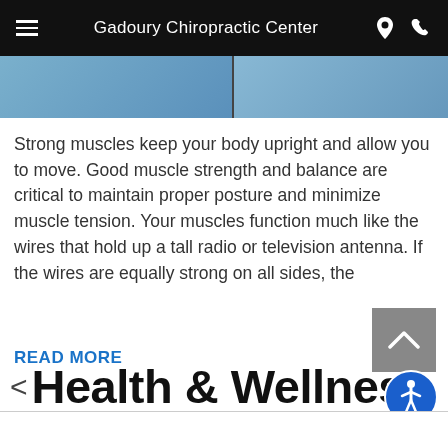Gadoury Chiropractic Center
[Figure (photo): Two blue-toned chiropractic or health related images side by side in a strip]
Strong muscles keep your body upright and allow you to move. Good muscle strength and balance are critical to maintain proper posture and minimize muscle tension. Your muscles function much like the wires that hold up a tall radio or television antenna. If the wires are equally strong on all sides, the
READ MORE
< Health & Wellness